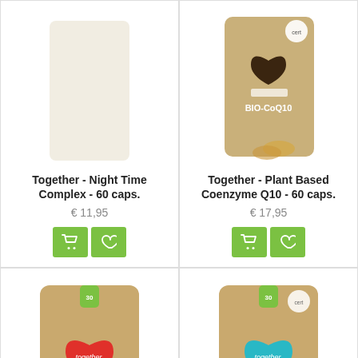[Figure (photo): Together brand supplement product - Night Time Complex 60 caps, kraft brown pouch (partially visible at top)]
Together - Night Time Complex - 60 caps.
€ 11,95
[Figure (photo): Together brand supplement product - Plant Based Coenzyme Q10 60 caps, kraft brown pouch with BIO-CoQ10 branding, naturally fermented, includes coconut oil, gel capsules visible]
Together - Plant Based Coenzyme Q10 - 60 caps.
€ 17,95
[Figure (photo): Together brand supplement product - Pregnancy Multi Vit & Mineral, kraft brown pouch with red heart and Pregnancy branding, whole food supplement]
[Figure (photo): Together brand supplement product - Calcium from pure calcified seaweed, kraft brown pouch with teal/turquoise heart and Calcium branding]